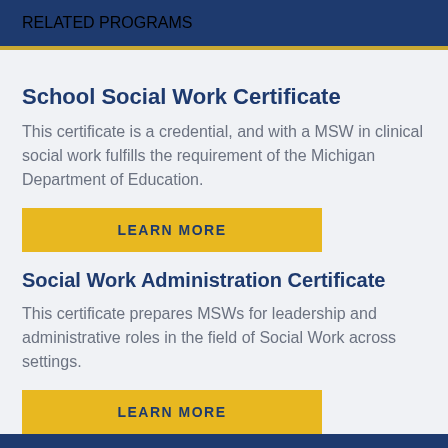RELATED PROGRAMS
School Social Work Certificate
This certificate is a credential, and with a MSW in clinical social work fulfills the requirement of the Michigan Department of Education.
LEARN MORE
Social Work Administration Certificate
This certificate prepares MSWs for leadership and administrative roles in the field of Social Work across settings.
LEARN MORE